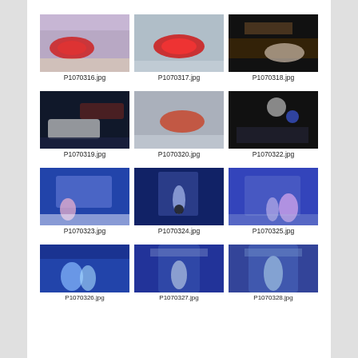[Figure (photo): Thumbnail photo of Lightning McQueen car on ice rink stage]
[Figure (photo): Thumbnail photo of Lightning McQueen car on ice rink stage with fog]
[Figure (photo): Thumbnail photo of dark arena scene with cars on stage]
[Figure (photo): Thumbnail photo of dark arena with white car on ice stage]
[Figure (photo): Thumbnail photo of red car on hazy ice rink]
[Figure (photo): Thumbnail photo of dark arena with lights and scattered objects]
[Figure (photo): Thumbnail photo of Frozen Disney on ice show with Anna character]
[Figure (photo): Thumbnail photo of Frozen Disney on ice show performer on stage]
[Figure (photo): Thumbnail photo of Frozen Disney on ice show with characters]
[Figure (photo): Thumbnail photo of Frozen Disney on ice show with Anna skating]
[Figure (photo): Thumbnail photo of Elsa character in gate/arch set piece on stage]
[Figure (photo): Thumbnail photo of character in blue dress in castle set piece]